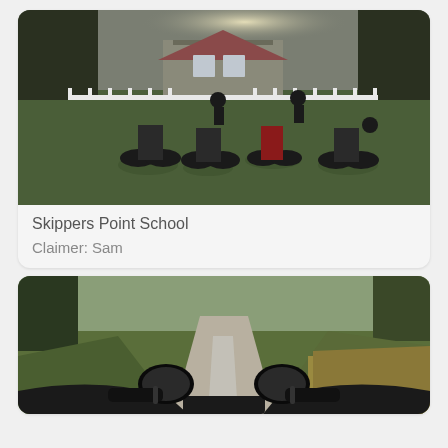[Figure (photo): Group of motorcycles parked on grass in front of a stone schoolhouse with white picket fence, riders visible, overcast day]
Skippers Point School
Claimer: Sam
[Figure (photo): First-person view from motorcycle handlebars on a wet gravel track surrounded by green grass and trees]